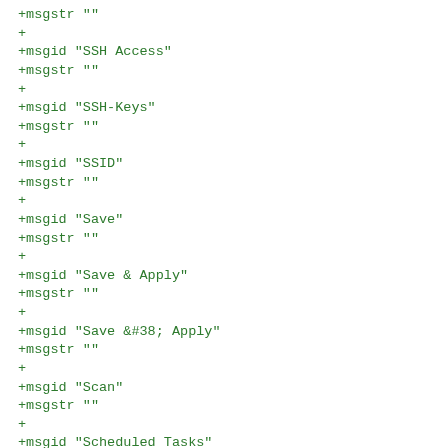+msgstr ""
+
+msgid "SSH Access"
+msgstr ""
+
+msgid "SSH-Keys"
+msgstr ""
+
+msgid "SSID"
+msgstr ""
+
+msgid "Save"
+msgstr ""
+
+msgid "Save & Apply"
+msgstr ""
+
+msgid "Save &#38; Apply"
+msgstr ""
+
+msgid "Scan"
+msgstr ""
+
+msgid "Scheduled Tasks"
+msgstr ""
+
+msgid "Section added"
+msgstr ""
+
+msgid "Section removed"
+msgstr ""
+